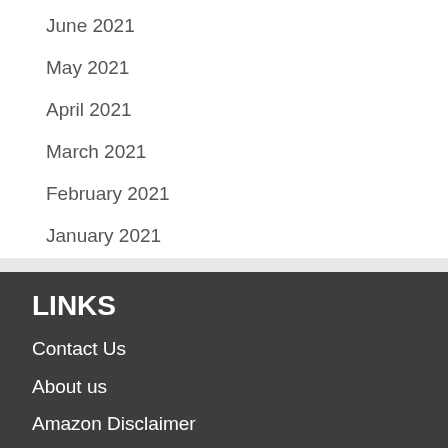June 2021
May 2021
April 2021
March 2021
February 2021
January 2021
LINKS
Contact Us
About us
Amazon Disclaimer